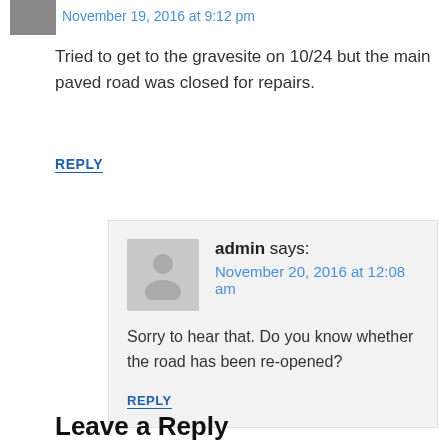November 19, 2016 at 9:12 pm
Tried to get to the gravesite on 10/24 but the main paved road was closed for repairs.
REPLY
admin says:
November 20, 2016 at 12:08 am
Sorry to hear that. Do you know whether the road has been re-opened?
REPLY
Leave a Reply